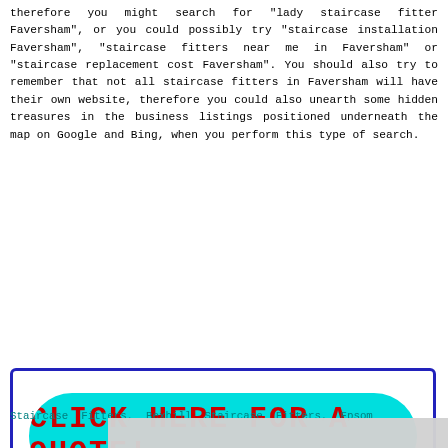therefore you might search for "lady staircase fitter Faversham", or you could possibly try "staircase installation Faversham", "staircase fitters near me in Faversham" or "staircase replacement cost Faversham". You should also try to remember that not all staircase fitters in Faversham will have their own website, therefore you could also unearth some hidden treasures in the business listings positioned underneath the map on Google and Bing, when you perform this type of search.
[Figure (other): Cyan rounded button with red bold text partially visible, inside a blue-bordered rectangle, showing a call-to-action button (text cut off)]
Find... fitt... sta... ins... and sta... loge...
Faversham: Fitt... Fitt... Sta... Staircase Fitters, Bexhill Staircase Fitters, Epsom
[Figure (screenshot): Cookie consent overlay: 'This site uses cookies from Google to deliver its services, personalise ads, and analyze traffic. By using this site, you agree to its use of cookies. Learn More   I Agree']